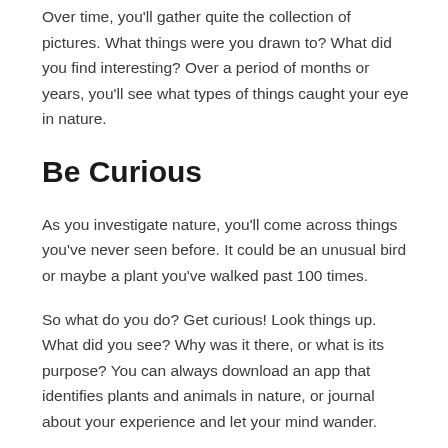Over time, you'll gather quite the collection of pictures. What things were you drawn to? What did you find interesting? Over a period of months or years, you'll see what types of things caught your eye in nature.
Be Curious
As you investigate nature, you'll come across things you've never seen before. It could be an unusual bird or maybe a plant you've walked past 100 times.
So what do you do? Get curious! Look things up. What did you see? Why was it there, or what is its purpose? You can always download an app that identifies plants and animals in nature, or journal about your experience and let your mind wander.
Clean Up